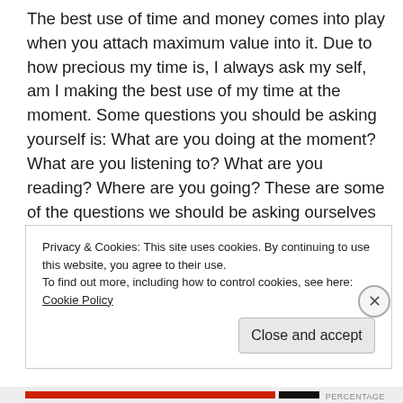The best use of time and money comes into play when you attach maximum value into it. Due to how precious my time is, I always ask my self, am I making the best use of my time at the moment. Some questions you should be asking yourself is: What are you doing at the moment? What are you listening to? What are you reading? Where are you going? These are some of the questions we should be asking ourselves daily as we climb the road of success.
Three greatest causes of failure of success are : Procrastination, giving excuses and the blame game. The idea of leaving for tomorrow, what you can achieve today,
Privacy & Cookies: This site uses cookies. By continuing to use this website, you agree to their use.
To find out more, including how to control cookies, see here: Cookie Policy
Close and accept